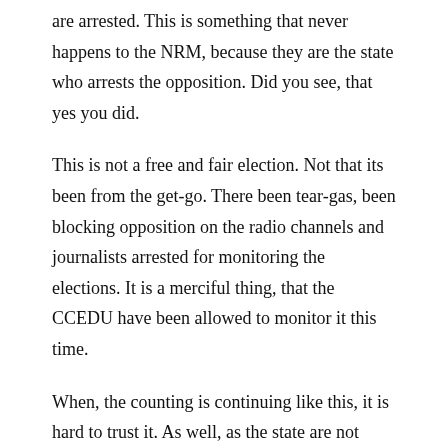are arrested. This is something that never happens to the NRM, because they are the state who arrests the opposition. Did you see, that yes you did.
This is not a free and fair election. Not that its been from the get-go. There been tear-gas, been blocking opposition on the radio channels and journalists arrested for monitoring the elections. It is a merciful thing, that the CCEDU have been allowed to monitor it this time.
When, the counting is continuing like this, it is hard to trust it. As well, as the state are not giving way to the opposition. They cannot make a fair fight, not in the polls and not during campaigns. Especially not behind bars. If the NRM believed they would win this fairly, they wouldn't have done this. But, alas they got to be